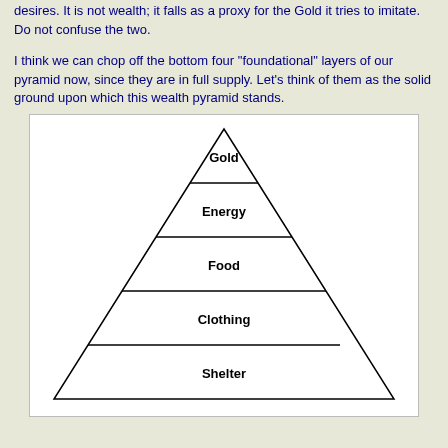desires. It is not wealth; it falls as a proxy for the Gold it tries to imitate. Do not confuse the two.
I think we can chop off the bottom four "foundational" layers of our pyramid now, since they are in full supply. Let's think of them as the solid ground upon which this wealth pyramid stands.
[Figure (infographic): A pyramid diagram divided into 5 horizontal layers, from top to bottom: Gold, Energy, Food, Clothing, Shelter.]